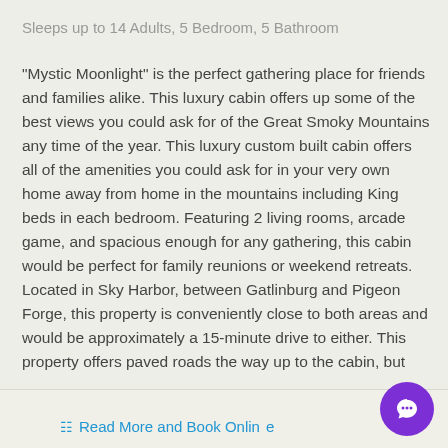Sleeps up to 14 Adults, 5 Bedroom, 5 Bathroom
"Mystic Moonlight" is the perfect gathering place for friends and families alike. This luxury cabin offers up some of the best views you could ask for of the Great Smoky Mountains any time of the year. This luxury custom built cabin offers all of the amenities you could ask for in your very own home away from home in the mountains including King beds in each bedroom. Featuring 2 living rooms, arcade game, and spacious enough for any gathering, this cabin would be perfect for family reunions or weekend retreats. Located in Sky Harbor, between Gatlinburg and Pigeon Forge, this property is conveniently close to both areas and would be approximately a 15-minute drive to either. This property offers paved roads the way up to the cabin, but
...
Read More and Book Online